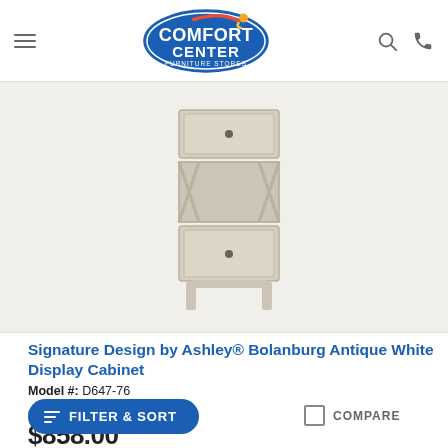Comfort Center Furniture Stores
[Figure (photo): Antique white display cabinet with two drawers and cross-pattern side panels]
Signature Design by Ashley® Bolanburg Antique White Display Cabinet
Model #: D647-76
4.1 ★★★★☆ (27)
$858.00
FILTER & SORT
COMPARE